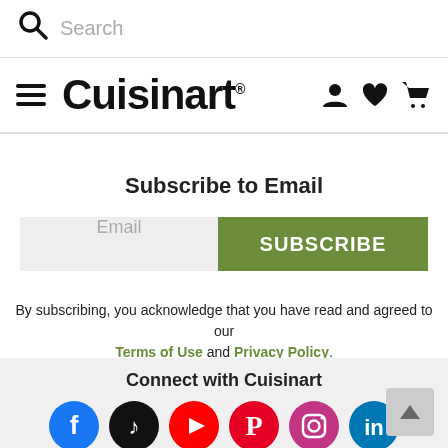Search
[Figure (logo): Cuisinart logo with hamburger menu icon and navigation icons (user, heart, cart)]
Subscribe to Email
Email | SUBSCRIBE
By subscribing, you acknowledge that you have read and agreed to our Terms of Use and Privacy Policy.
Connect with Cuisinart
[Figure (illustration): Row of social media icons: Facebook, TikTok, YouTube, Pinterest, Instagram, LinkedIn]